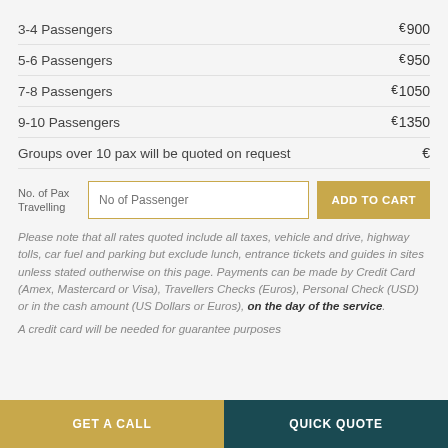3-4 Passengers — €900
5-6 Passengers — €950
7-8 Passengers — €1050
9-10 Passengers — €1350
Groups over 10 pax will be quoted on request — €
No. of Pax Travelling
Please note that all rates quoted include all taxes, vehicle and drive, highway tolls, car fuel and parking but exclude lunch, entrance tickets and guides in sites unless stated outherwise on this page. Payments can be made by Credit Card (Amex, Mastercard or Visa), Travellers Checks (Euros), Personal Check (USD) or in the cash amount (US Dollars or Euros), on the day of the service.
A credit card will be needed for guarantee purposes
GET A CALL | QUICK QUOTE